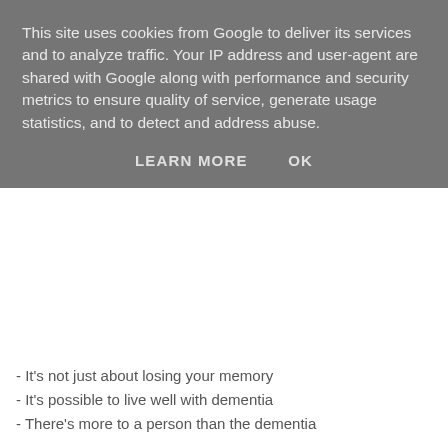This site uses cookies from Google to deliver its services and to analyze traffic. Your IP address and user-agent are shared with Google along with performance and security metrics to ensure quality of service, generate usage statistics, and to detect and address abuse.
LEARN MORE    OK
- It's not just about losing your memory
- It's possible to live well with dementia
- There's more to a person than the dementia
The Alzheimer's Society would like us to move away from the idea of someone 'suffering' from dementia and think of it as 'living with' the condition. With the right support and initiatives like Dementia Friends, some of the myths surrounding dementia can hopefully be dispelled.
We talked about the five points listed above in more detail, and in a relatively short time, I learnt a great deal. One of my favourite parts was the analogy of dementia and a set of Christmas fairy lights to explain simply how dementia affects